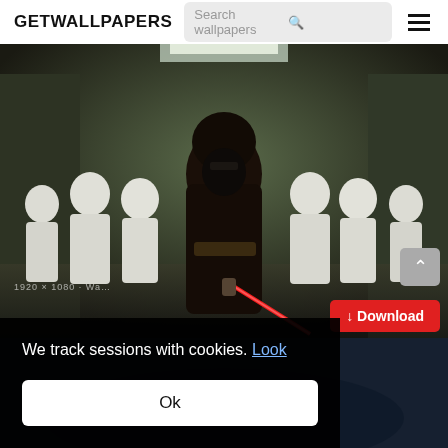GETWALLPAPERS
[Figure (screenshot): Star Wars scene: Kylo Ren in dark robes holding a red lightsaber, surrounded by First Order Stormtroopers in a spaceship corridor]
We track sessions with cookies. Look
Ok
Download
[Figure (screenshot): Partial view of another wallpaper at the bottom (dark blue/ocean scene)]